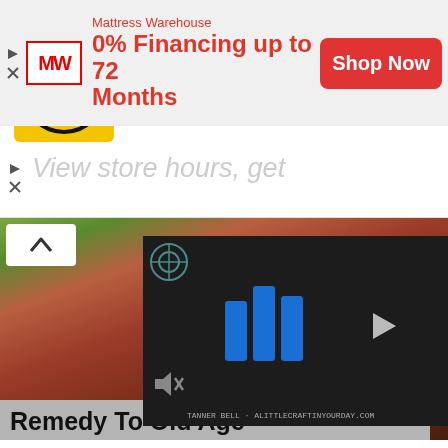44110 Ashburn Shopping Plaza 1.
[Figure (logo): HC (Honest Clean) logo — yellow square with black HC letters in stylized font and circle]
[Figure (logo): Blue diamond navigation arrow icon]
View store hours, get
[Figure (photo): Close-up photo of hands holding something, blurry/dark tones]
[Figure (screenshot): Dark video player overlay showing blue geometric bars logo and a person, with mute icon and text TANNER BELL - ALITTLECRAFTINYOURDAY.COM]
Remedy To Old Age
TheExodusEffect.com
Mattress Warehouse
[Figure (logo): MW (Mattress Warehouse) logo in red on white background]
0% Financing up to 72 Months
Shop Now